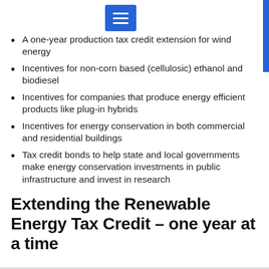A one-year production tax credit extension for wind energy
Incentives for non-corn based (cellulosic) ethanol and biodiesel
Incentives for companies that produce energy efficient products like plug-in hybrids
Incentives for energy conservation in both commercial and residential buildings
Tax credit bonds to help state and local governments make energy conservation investments in public infrastructure and invest in research
Extending the Renewable Energy Tax Credit – one year at a time